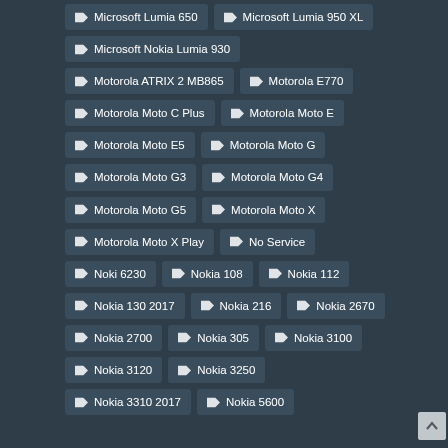Microsoft Lumia 650
Microsoft Lumia 950 XL
Microsoft Nokia Lumia 930
Motorola ATRIX 2 MB865
Motorola E770
Motorola Moto C Plus
Motorola Moto E
Motorola Moto E5
Motorola Moto G
Motorola Moto G3
Motorola Moto G4
Motorola Moto G5
Motorola Moto X
Motorola Moto X Play
No Service
Noki 6230
Nokia 108
Nokia 112
Nokia 130 2017
Nokia 216
Nokia 2670
Nokia 2700
Nokia 305
Nokia 3100
Nokia 3120
Nokia 3250
Nokia 3310 2017
Nokia 5600